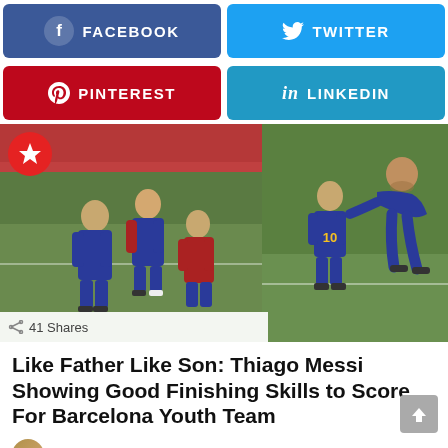[Figure (infographic): Facebook share button (blue) and Twitter share button (light blue) side by side]
[Figure (infographic): Pinterest share button (red) and LinkedIn share button (light blue) side by side]
[Figure (photo): Two photos side by side: left shows children in FC Barcelona jerseys playing/celebrating on a youth pitch; right shows a child in Barcelona #10 jersey next to Lionel Messi bending down to talk to him on a pitch. A red Buzzfeed-style badge is in top-left corner. '41 Shares' label at bottom left.]
Like Father Like Son: Thiago Messi Showing Good Finishing Skills to Score For Barcelona Youth Team
by Khalid Talla